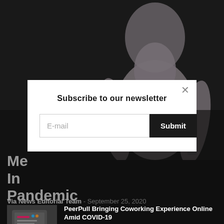[Figure (photo): Background photo of a person in a white shirt on a dark background, partially visible behind a modal dialog]
Me... In... Pandemic
Via News Editorial Team - September 25, 2020
[Figure (screenshot): Modal dialog overlay: Subscribe to our newsletter with email input and Submit button]
[Figure (photo): Thumbnail image for related article showing a mobile/tablet device]
PeerPull Bringing Coworking Experience Online Amid COVID-19
September 12, 2020